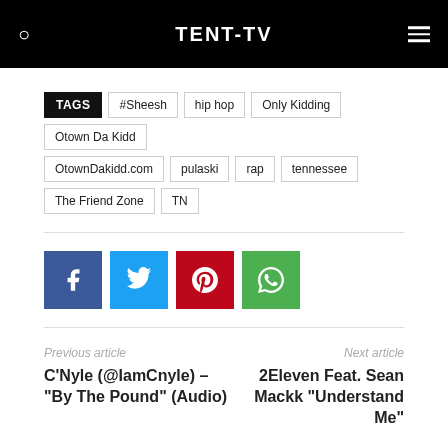TENT-TV
TAGS  #Sheesh  hip hop  Only Kidding  Otown Da Kidd  OtownDakidd.com  pulaski  rap  tennessee  The Friend Zone  TN
[Figure (other): Social sharing buttons: Facebook, Twitter, Pinterest, WhatsApp]
Previous article
C'Nyle (@IamCnyle) – "By The Pound" (Audio)
Next article
2Eleven Feat. Sean Mackk "Understand Me"